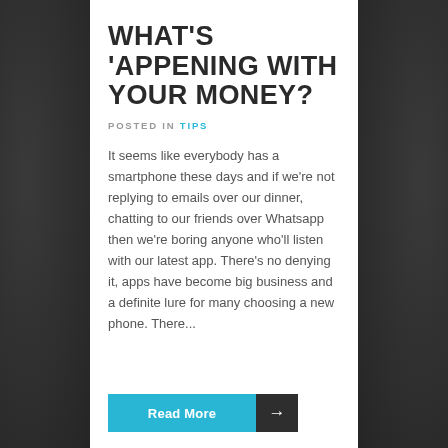WHAT'S 'APPENING WITH YOUR MONEY?
POSTED IN TIPS
It seems like everybody has a smartphone these days and if we're not replying to emails over our dinner, chatting to our friends over Whatsapp then we're boring anyone who'll listen with our latest app. There's no denying it, apps have become big business and a definite lure for many choosing a new phone. There...
Read More →